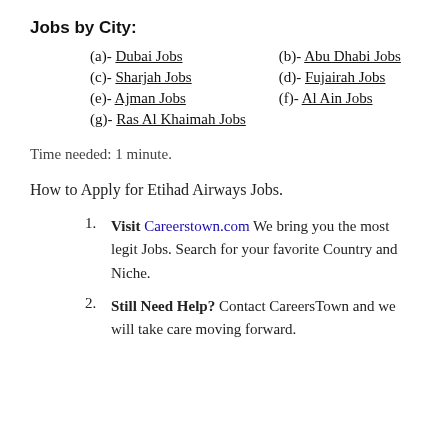Jobs by City:
(a)- Dubai Jobs   (b)- Abu Dhabi Jobs
(c)- Sharjah Jobs   (d)- Fujairah Jobs
(e)- Ajman Jobs   (f)- Al Ain Jobs
(g)- Ras Al Khaimah Jobs
Time needed: 1 minute.
How to Apply for Etihad Airways Jobs.
Visit Careerstown.com We bring you the most legit Jobs. Search for your favorite Country and Niche.
Still Need Help? Contact CareersTown and we will take care moving forward.